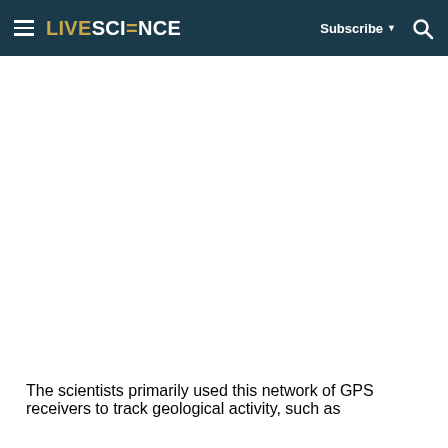LIVESCIENCE | Subscribe | Search
[Figure (other): Advertisement or blank white space area below the header navigation bar]
The scientists primarily used this network of GPS receivers to track geological activity, such as